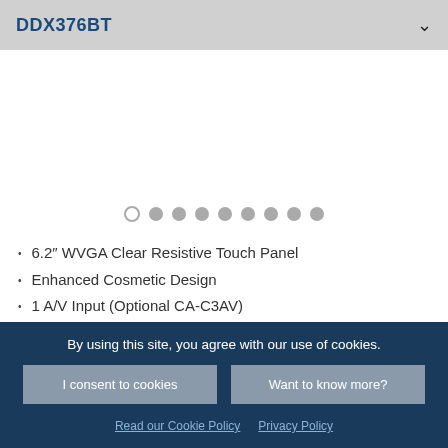DDX376BT
[Figure (screenshot): Product image area with carousel navigation dots below (9 dots, first one outlined/inactive, rest filled gray)]
6.2″ WVGA Clear Resistive Touch Panel
Enhanced Cosmetic Design
1 A/V Input (Optional CA-C3AV)
Illuminated Rotary Volume Knob
3 Preouts 4.0V
By using this site, you agree with our use of cookies.
I consent to cookies
Want to know more?
Read our Cookie Policy   Privacy Policy